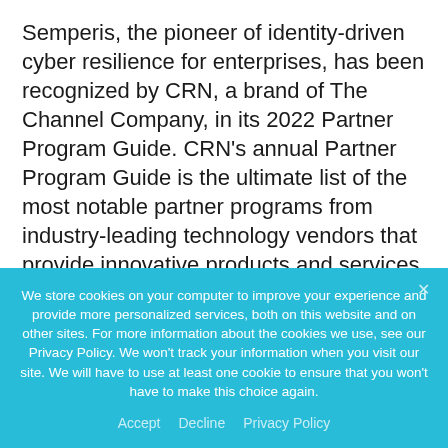Semperis, the pioneer of identity-driven cyber resilience for enterprises, has been recognized by CRN, a brand of The Channel Company, in its 2022 Partner Program Guide. CRN's annual Partner Program Guide is the ultimate list of the most notable partner programs from industry-leading technology vendors that provide innovative products and services through the IT channel.
We store cookies on your computer to improve your experience and provide more personalized services, both on this website and on other sites. For more information about the cookies we use, see our Privacy Policy. We won't track your information when you visit our site. We will have to use at least one cookie to ensure that you won't have to make this choice again.
Accept   Decline   Privacy Policy